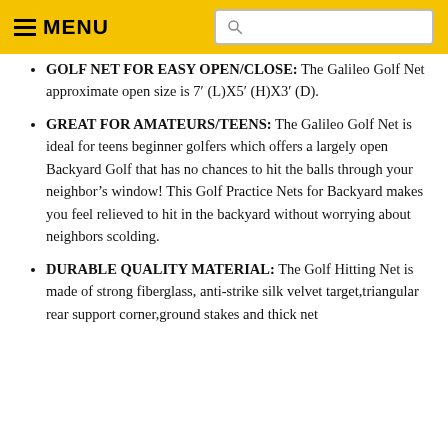MENU [search bar]
GOLF NET FOR EASY OPEN/CLOSE: The Galileo Golf Net approximate open size is 7' (L)X5' (H)X3' (D).
GREAT FOR AMATEURS/TEENS: The Galileo Golf Net is ideal for teens beginner golfers which offers a largely open Backyard Golf that has no chances to hit the balls through your neighbor's window! This Golf Practice Nets for Backyard makes you feel relieved to hit in the backyard without worrying about neighbors scolding.
DURABLE QUALITY MATERIAL: The Golf Hitting Net is made of strong fiberglass, anti-strike silk velvet target,triangular rear support corner,ground stakes and thick net